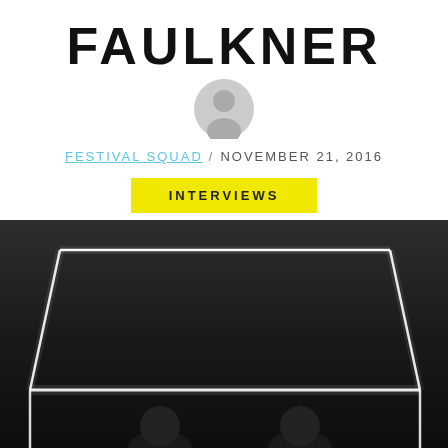FAULKNER
[Figure (illustration): Gray circular avatar/profile icon placeholder]
FESTIVAL SQUAD / NOVEMBER 21, 2016
INTERVIEWS
[Figure (photo): Black and white photo showing two people inside a glowing white rectangular light installation box structure against a dark background]